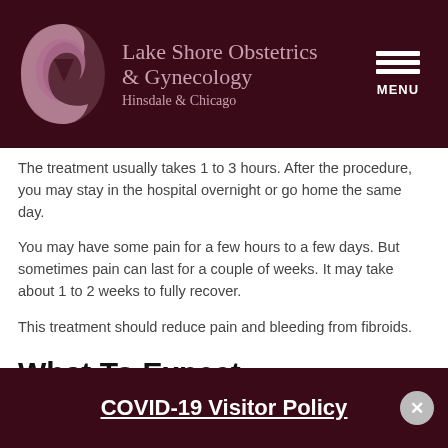[Figure (logo): Lake Shore Obstetrics & Gynecology logo with circular swirl graphic and practice name text on dark maroon header background with hamburger menu]
The treatment usually takes 1 to 3 hours. After the procedure, you may stay in the hospital overnight or go home the same day.
You may have some pain for a few hours to a few days. But sometimes pain can last for a couple of weeks. It may take about 1 to 2 weeks to fully recover.
This treatment should reduce pain and bleeding from fibroids.
What To Expect
COVID-19 Visitor Policy